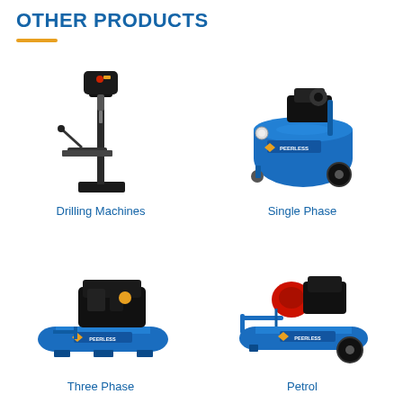OTHER PRODUCTS
[Figure (photo): Drilling machine / pedestal drill press on a black stand]
Drilling Machines
[Figure (photo): Peerless single phase portable air compressor with blue tank on wheels]
Single Phase
[Figure (photo): Peerless three phase air compressor with blue horizontal tank on feet]
Three Phase
[Figure (photo): Peerless petrol-powered air compressor with blue tank on wheels and red engine]
Petrol